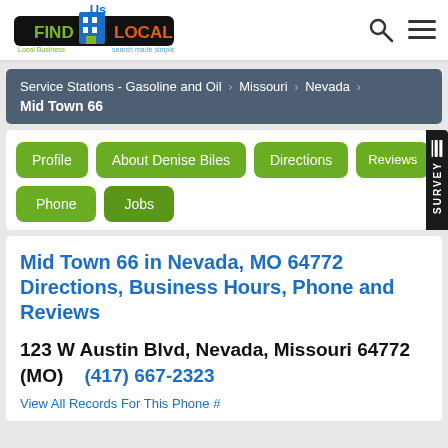[Figure (logo): FindUsLocal logo - local business search made simple]
Service Stations - Gasoline and Oil > Missouri > Nevada > Mid Town 66
Profile
About Denise Biles
Directions
Reviews
Phone
Jobs
Mid Town 66 in Nevada, MO 64772 Directions, Business Hours, Phone and Reviews
123 W Austin Blvd, Nevada, Missouri 64772 (MO)  (417) 667-2323
View All Records For This Phone #